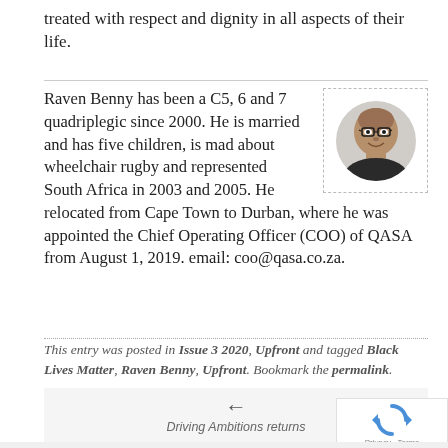treated with respect and dignity in all aspects of their life.
Raven Benny has been a C5, 6 and 7 quadriplegic since 2000. He is married and has five children, is mad about wheelchair rugby and represented South Africa in 2003 and 2005. He relocated from Cape Town to Durban, where he was appointed the Chief Operating Officer (COO) of QASA from August 1, 2019. email: coo@qasa.co.za.
[Figure (photo): Circular headshot photo of Raven Benny, a man wearing glasses, smiling, in a dotted border frame]
This entry was posted in Issue 3 2020, Upfront and tagged Black Lives Matter, Raven Benny, Upfront. Bookmark the permalink.
← Driving Ambitions returns